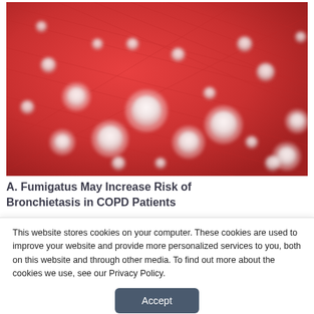[Figure (photo): Close-up photograph of Aspergillus fumigatus fungal colonies (white fluffy spots) on a red/orange agar culture plate]
A. Fumigatus May Increase Risk of Bronchietasis in COPD Patients
This website stores cookies on your computer. These cookies are used to improve your website and provide more personalized services to you, both on this website and through other media. To find out more about the cookies we use, see our Privacy Policy.
Accept